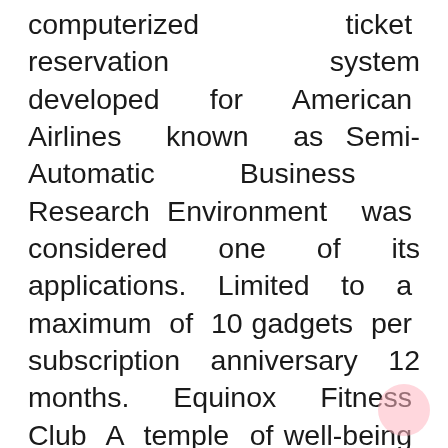computerized ticket reservation system developed for American Airlines known as Semi-Automatic Business Research Environment was considered one of its applications. Limited to a maximum of 10 gadgets per subscription anniversary 12 months. Equinox Fitness Club A temple of well-being that includes world-class private trainers, Group Fitness lessons, spas and more.Equinox Sports Club More than simply an hour of the day, it's a second space. A magnetic vacation spot for members to pursue their objectives and construct a community.E by Equinox Unequaled.